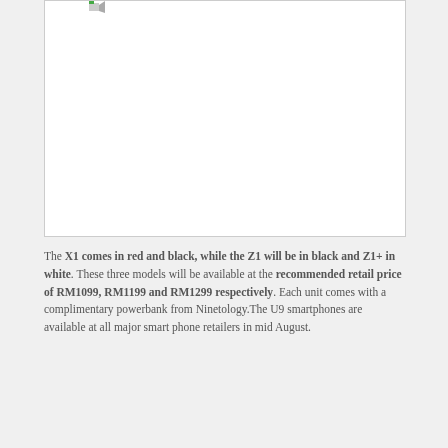[Figure (photo): Large white/blank image placeholder with a small icon in the top-left corner]
The X1 comes in red and black, while the Z1 will be in black and Z1+ in white. These three models will be available at the recommended retail price of RM1099, RM1199 and RM1299 respectively. Each unit comes with a complimentary powerbank from Ninetology.The U9 smartphones are available at all major smart phone retailers in mid August.
[Figure (screenshot): Video player thumbnail with black background and red play button circle in the lower-left area]